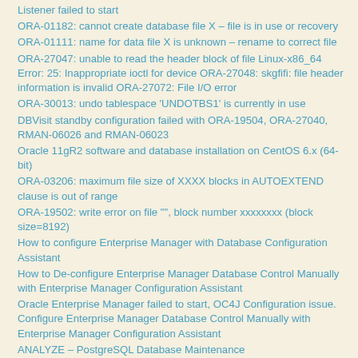Listener failed to start
ORA-01182: cannot create database file X – file is in use or recovery
ORA-01111: name for data file X is unknown – rename to correct file
ORA-27047: unable to read the header block of file Linux-x86_64 Error: 25: Inappropriate ioctl for device ORA-27048: skgfifi: file header information is invalid ORA-27072: File I/O error
ORA-30013: undo tablespace 'UNDOTBS1' is currently in use
DBVisit standby configuration failed with ORA-19504, ORA-27040, RMAN-06026 and RMAN-06023
Oracle 11gR2 software and database installation on CentOS 6.x (64-bit)
ORA-03206: maximum file size of XXXX blocks in AUTOEXTEND clause is out of range
ORA-19502: write error on file "", block number xxxxxxxx (block size=8192)
How to configure Enterprise Manager with Database Configuration Assistant
How to De-configure Enterprise Manager Database Control Manually with Enterprise Manager Configuration Assistant
Oracle Enterprise Manager failed to start, OC4J Configuration issue. Configure Enterprise Manager Database Control Manually with Enterprise Manager Configuration Assistant
ANALYZE – PostgreSQL Database Maintenance
VACUUM – PostgreSQL Database Maintenance
How to relocate/move oracle datafiles in Oracle 11g